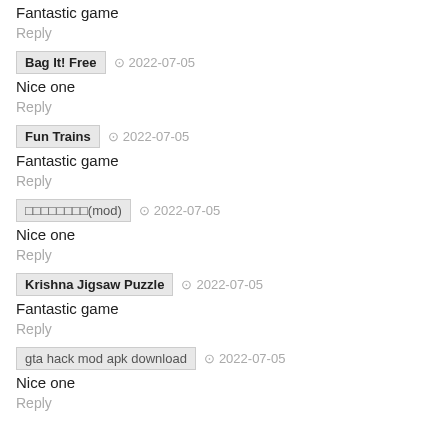Fantastic game
Reply
Bag It! Free  ⊙  2022-07-05
Nice one
Reply
Fun Trains  ⊙  2022-07-05
Fantastic game
Reply
□□□□□□□□(mod)  ⊙  2022-07-05
Nice one
Reply
Krishna Jigsaw Puzzle  ⊙  2022-07-05
Fantastic game
Reply
gta hack mod apk download  ⊙  2022-07-05
Nice one
Reply